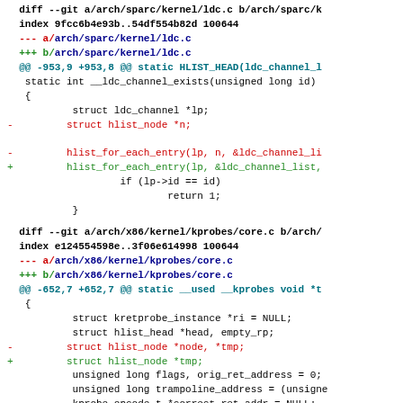diff --git a/arch/sparc/kernel/ldc.c b/arch/sparc/k
index 9fcc6b4e93b..54df554b82d 100644
--- a/arch/sparc/kernel/ldc.c
+++ b/arch/sparc/kernel/ldc.c
@@ -953,9 +953,8 @@ static HLIST_HEAD(ldc_channel_l
 static int __ldc_channel_exists(unsigned long id)
 {
         struct ldc_channel *lp;
-        struct hlist_node *n;

-        hlist_for_each_entry(lp, n, &ldc_channel_li
+        hlist_for_each_entry(lp, &ldc_channel_list,
                 if (lp->id == id)
                         return 1;
         }
diff --git a/arch/x86/kernel/kprobes/core.c b/arch/
index e124554598e..3f06e614998 100644
--- a/arch/x86/kernel/kprobes/core.c
+++ b/arch/x86/kernel/kprobes/core.c
@@ -652,7 +652,7 @@ static __used __kprobes void *t
 {
         struct kretprobe_instance *ri = NULL;
         struct hlist_head *head, empty_rp;
-        struct hlist_node *node, *tmp;
+        struct hlist_node *tmp;
         unsigned long flags, orig_ret_address = 0;
         unsigned long trampoline_address = (unsigne
         kprobe_opcode_t *correct_ret_addr = NULL;
[Figure (screenshot): Git diff output showing two file diffs: arch/sparc/kernel/ldc.c and arch/x86/kernel/kprobes/core.c with removed hlist_node references]